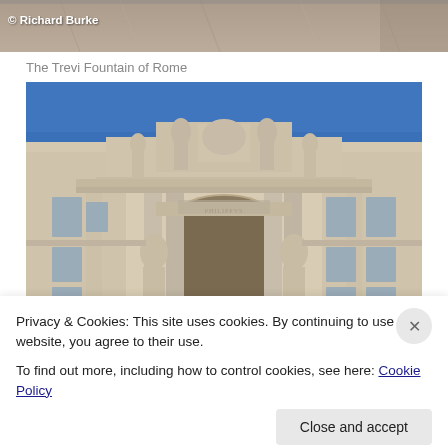[Figure (photo): Top portion of a photo showing stone/marble texture with copyright credit overlay]
The Trevi Fountain of Rome
[Figure (photo): Photograph of the Trevi Fountain in Rome showing ornate baroque facade with statues, columns, arched central niche, and deep blue sky above]
Privacy & Cookies: This site uses cookies. By continuing to use this website, you agree to their use.
To find out more, including how to control cookies, see here: Cookie Policy
Close and accept